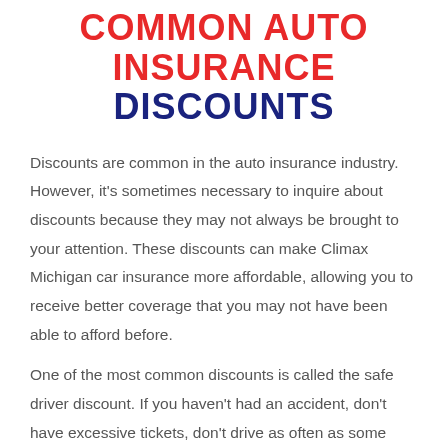COMMON AUTO INSURANCE DISCOUNTS
Discounts are common in the auto insurance industry. However, it's sometimes necessary to inquire about discounts because they may not always be brought to your attention. These discounts can make Climax Michigan car insurance more affordable, allowing you to receive better coverage that you may not have been able to afford before.
One of the most common discounts is called the safe driver discount. If you haven't had an accident, don't have excessive tickets, don't drive as often as some people might, and if you are generally a safe driver,